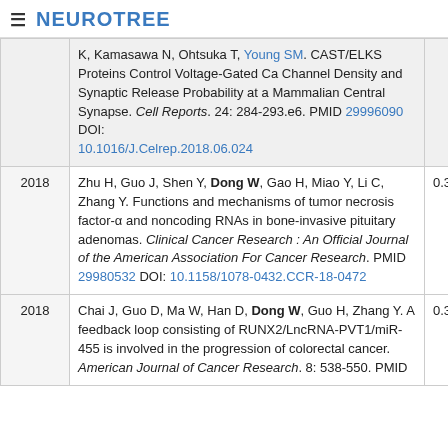≡ NEUROTREE
| Year | Reference | Score |
| --- | --- | --- |
|  | K, Kamasawa N, Ohtsuka T, Young SM. CAST/ELKS Proteins Control Voltage-Gated Ca Channel Density and Synaptic Release Probability at a Mammalian Central Synapse. Cell Reports. 24: 284-293.e6. PMID 29996090 DOI: 10.1016/J.Celrep.2018.06.024 |  |
| 2018 | Zhu H, Guo J, Shen Y, Dong W, Gao H, Miao Y, Li C, Zhang Y. Functions and mechanisms of tumor necrosis factor-α and noncoding RNAs in bone-invasive pituitary adenomas. Clinical Cancer Research : An Official Journal of the American Association For Cancer Research. PMID 29980532 DOI: 10.1158/1078-0432.CCR-18-0472 | 0.305 |
| 2018 | Chai J, Guo D, Ma W, Han D, Dong W, Guo H, Zhang Y. A feedback loop consisting of RUNX2/LncRNA-PVT1/miR-455 is involved in the progression of colorectal cancer. American Journal of Cancer Research. 8: 538-550. PMID | 0.302 |